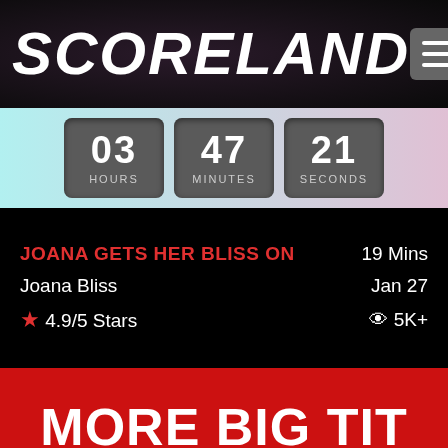SCORELAND
03 HOURS  47 MINUTES  21 SECONDS
JOANA GETS HER BLISS ON  19 Mins
Joana Bliss  Jan 27
★ 4.9/5 Stars  👁 5K+
MORE BIG TIT VIDEOS »